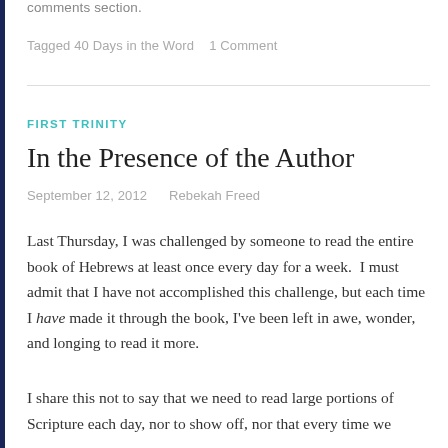comments section.
Tagged 40 Days in the Word   1 Comment
FIRST TRINITY
In the Presence of the Author
September 12, 2012   Rebekah Freed
Last Thursday, I was challenged by someone to read the entire book of Hebrews at least once every day for a week. I must admit that I have not accomplished this challenge, but each time I have made it through the book, I’ve been left in awe, wonder, and longing to read it more.
I share this not to say that we need to read large portions of Scripture each day, nor to show off, nor that every time we